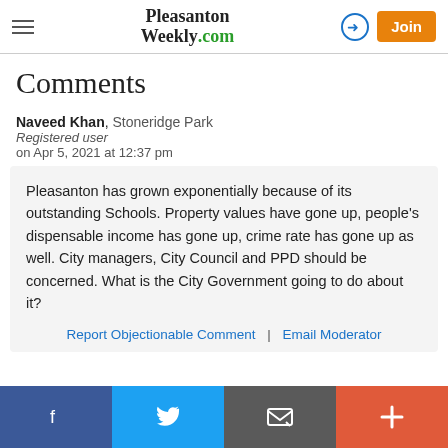Pleasanton Weekly.com
Comments
Naveed Khan, Stoneridge Park
Registered user
on Apr 5, 2021 at 12:37 pm
Pleasanton has grown exponentially because of its outstanding Schools. Property values have gone up, people's dispensable income has gone up, crime rate has gone up as well. City managers, City Council and PPD should be concerned. What is the City Government going to do about it?
Report Objectionable Comment | Email Moderator